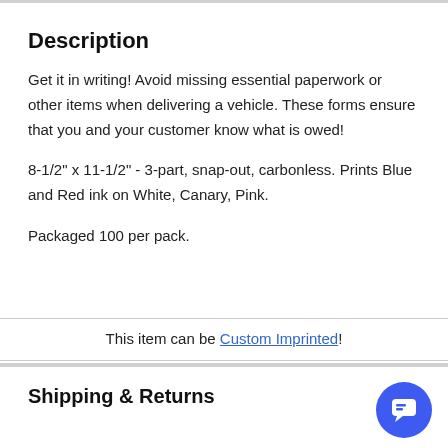Description
Get it in writing! Avoid missing essential paperwork or other items when delivering a vehicle. These forms ensure that you and your customer know what is owed!
8-1/2" x 11-1/2" - 3-part, snap-out, carbonless. Prints Blue and Red ink on White, Canary, Pink.
Packaged 100 per pack.
This item can be Custom Imprinted!
Shipping & Returns